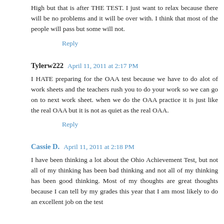High but that is after THE TEST. I just want to relax because there will be no problems and it will be over with. I think that most of the people will pass but some will not.
Reply
Tylerw222  April 11, 2011 at 2:17 PM
I HATE preparing for the OAA test because we have to do alot of work sheets and the teachers rush you to do your work so we can go on to next work sheet. when we do the OAA practice it is just like the real OAA but it is not as quiet as the real OAA.
Reply
Cassie D.  April 11, 2011 at 2:18 PM
I have been thinking a lot about the Ohio Achievement Test, but not all of my thinking has been bad thinking and not all of my thinking has been good thinking. Most of my thoughts are great thoughts because I can tell by my grades this year that I am most likely to do an excellent job on the test